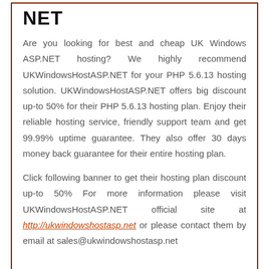NET
Are you looking for best and cheap UK Windows ASP.NET hosting? We highly recommend UKWindowsHostASP.NET for your PHP 5.6.13 hosting solution. UKWindowsHostASP.NET offers big discount up-to 50% for their PHP 5.6.13 hosting plan. Enjoy their reliable hosting service, friendly support team and get 99.99% uptime guarantee. They also offer 30 days money back guarantee for their entire hosting plan.
Click following banner to get their hosting plan discount up-to 50% For more information please visit UKWindowsHostASP.NET official site at http://ukwindowshostasp.net or please contact them by email at sales@ukwindowshostasp.net